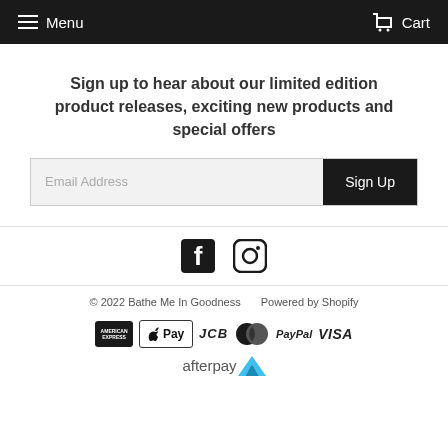Menu   Cart
Sign up to hear about our limited edition product releases, exciting new products and special offers
Email Address  Sign Up
[Figure (illustration): Facebook and Instagram social media icons]
© 2022 Bathe Me In Goodness   Powered by Shopify
[Figure (logo): Payment logos: American Express, Apple Pay, JCB, MasterCard, PayPal, VISA, Afterpay]